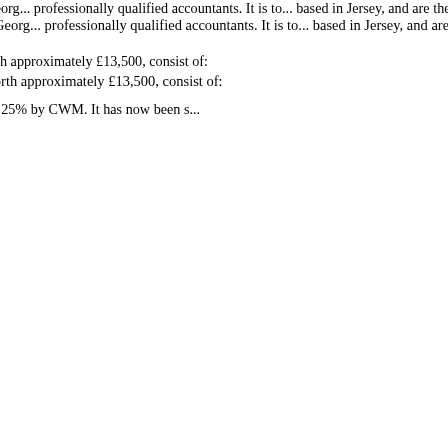second and third interveners who are also trustees of the trusts. The second intervener (Mr St Georg... professionally qualified accountants. It is to... based in Jersey, and are therefore personally... authorities, the trusts continue to be govern...
8. The matrimonial assets, apart from the w... the former matrimonial home, some money... worth approximately £13,500, consist of:
i) The shares in HDC, CWM and (as...
ii) The former matrimonial home, pu... CWM, the purchase monies having c... and 25% by CWM. It has now been s...
iii) The husband's pension fund, wort...
There is also a holiday property in Antigua... 1997 for US$160,000, but owned by HDC.
The issues
9. But for a number of issues raised by the... It has been made much more complex beca... are shams – with the consequence, so the w... as owning not 1,150 (23%) of the shares in... shares in HDC held by the trusts are in any... in accordance with the principle in Thomas... value of HDC has been artificially reduced... sums in cash and (b) diverting its business... case has also been made more complex bec...